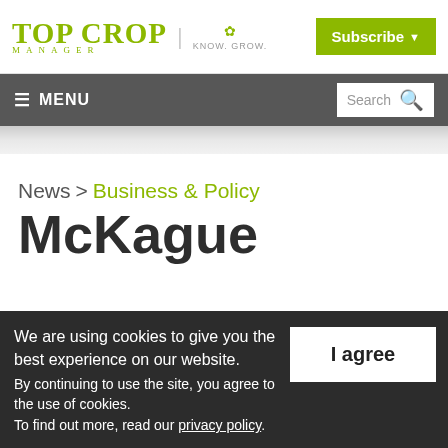Top Crop Manager | KNOW. GROW. | Subscribe
≡ MENU | Search
News > Business & Policy
McKague
We are using cookies to give you the best experience on our website.
By continuing to use the site, you agree to the use of cookies.
To find out more, read our privacy policy.